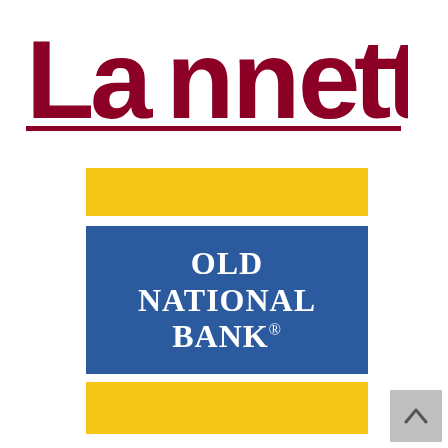[Figure (logo): Lannett company logo in dark red/maroon with underline]
[Figure (logo): Yellow/gold horizontal bar (part of Old National Bank branding)]
[Figure (logo): Old National Bank logo - blue rectangle with white serif text reading OLD NATIONAL BANK with registered trademark symbol]
[Figure (logo): Yellow/gold horizontal bar (part of Old National Bank branding)]